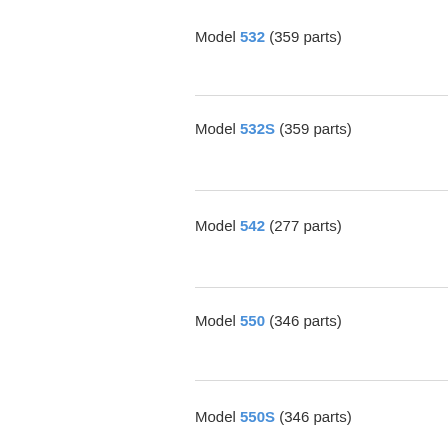Model 532 (359 parts)
Model 532S (359 parts)
Model 542 (277 parts)
Model 550 (346 parts)
Model 550S (346 parts)
Model 561 (290 parts)